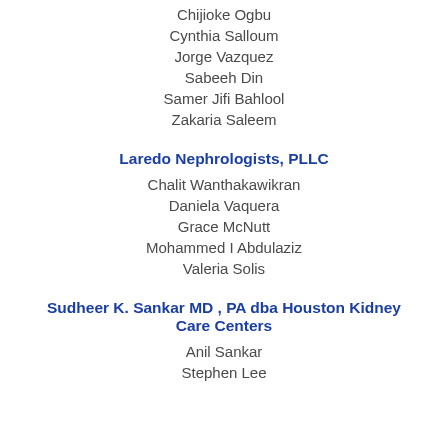Chijioke Ogbu
Cynthia Salloum
Jorge Vazquez
Sabeeh Din
Samer Jifi Bahlool
Zakaria Saleem
Laredo Nephrologists, PLLC
Chalit Wanthakawikran
Daniela Vaquera
Grace McNutt
Mohammed I Abdulaziz
Valeria Solis
Sudheer K. Sankar MD , PA dba Houston Kidney Care Centers
Anil Sankar
Stephen Lee